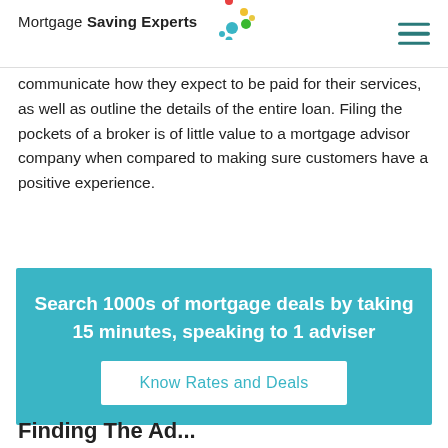Mortgage Saving Experts
communicate how they expect to be paid for their services, as well as outline the details of the entire loan. Filing the pockets of a broker is of little value to a mortgage advisor company when compared to making sure customers have a positive experience.
[Figure (infographic): Teal/cyan call-to-action box with white text: 'Search 1000s of mortgage deals by taking 15 minutes, speaking to 1 adviser' and a white button labeled 'Know Rates and Deals']
Finding The Ad...